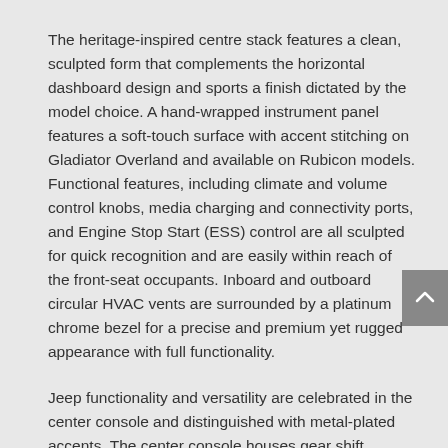The heritage-inspired centre stack features a clean, sculpted form that complements the horizontal dashboard design and sports a finish dictated by the model choice. A hand-wrapped instrument panel features a soft-touch surface with accent stitching on Gladiator Overland and available on Rubicon models. Functional features, including climate and volume control knobs, media charging and connectivity ports, and Engine Stop Start (ESS) control are all sculpted for quick recognition and are easily within reach of the front-seat occupants. Inboard and outboard circular HVAC vents are surrounded by a platinum chrome bezel for a precise and premium yet rugged appearance with full functionality.
Jeep functionality and versatility are celebrated in the center console and distinguished with metal-plated accents. The center console houses gear shift selection, transfer case and parking brake. Real bolts